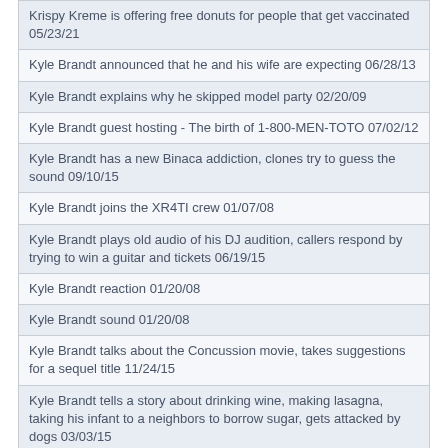Krispy Kreme is offering free donuts for people that get vaccinated 05/23/21
Kyle Brandt announced that he and his wife are expecting 06/28/13
Kyle Brandt explains why he skipped model party 02/20/09
Kyle Brandt guest hosting - The birth of 1-800-MEN-TOTO 07/02/12
Kyle Brandt has a new Binaca addiction, clones try to guess the sound 09/10/15
Kyle Brandt joins the XR4TI crew 01/07/08
Kyle Brandt plays old audio of his DJ audition, callers respond by trying to win a guitar and tickets 06/19/15
Kyle Brandt reaction 01/20/08
Kyle Brandt sound 01/20/08
Kyle Brandt talks about the Concussion movie, takes suggestions for a sequel title 11/24/15
Kyle Brandt tells a story about drinking wine, making lasagna, taking his infant to a neighbors to borrow sugar, gets attacked by dogs 03/03/15
Kyle Brandt tells the story about meeting Randall WFI in the OC at Costco 12/08/14
Kyle Brandt's take on George Zimmer 06/28/13
Kyle Brandts tribute to Mike in San Diego 07/02/12
Kyle Farnsworth does not like Rockets contract 05/18/07
Kyle in Green Bay is on another road trip, posted pics with Wells in the 360 and Cal in Vegas, clones smack their personal appearances, Rome does a Smackoff preview 05/12/20